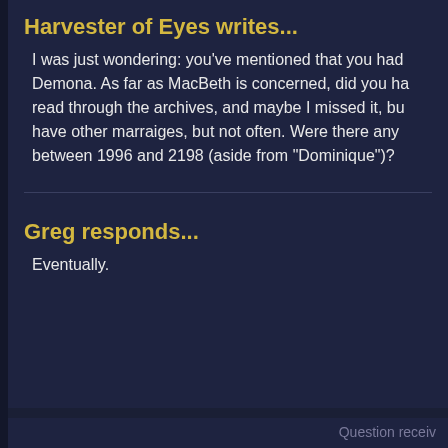Harvester of Eyes writes...
I was just wondering: you've mentioned that you had Demona. As far as MacBeth is concerned, did you ha read through the archives, and maybe I missed it, bu have other marraiges, but not often. Were there any between 1996 and 2198 (aside from "Dominique")?
Greg responds...
Eventually.
Question receiv
Doop writes...
Hi. First of all, I want to say that I really enjoyed the G imo, the best character in the show, and one of the b interesting and complex character.
1) Were you ever planning on having Demona redee